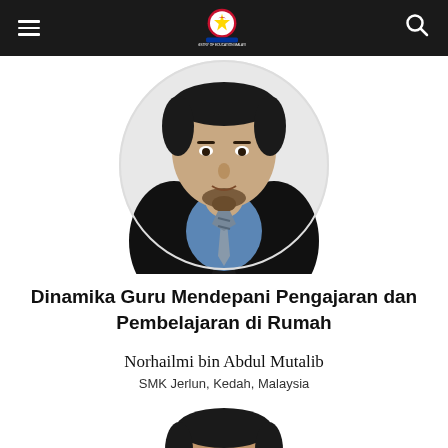Ministry of Education Malaysia navigation bar with logo, hamburger menu, and search icon
[Figure (photo): Circular cropped portrait photo of a man wearing a dark blazer, blue shirt, and striped tie]
Dinamika Guru Mendepani Pengajaran dan Pembelajaran di Rumah
Norhailmi bin Abdul Mutalib
SMK Jerlun, Kedah, Malaysia
[Figure (photo): Partial portrait photo of a second man, cropped at the bottom of the page]